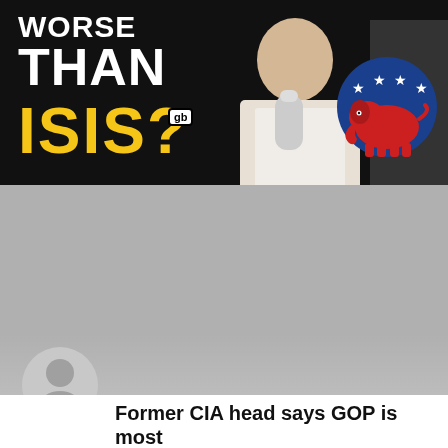[Figure (screenshot): Dark background image with bold text reading 'WORSE THAN ISIS?' in white and yellow, person speaking into microphone at center, Republican GOP elephant logo at right]
[Figure (photo): Gray placeholder area with a circular user profile silhouette icon in the lower left]
Former CIA head says GOP is most